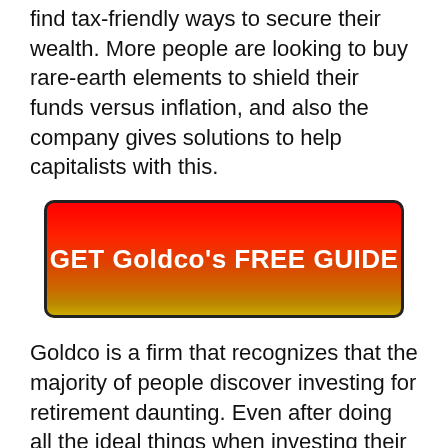find tax-friendly ways to secure their wealth. More people are looking to buy rare-earth elements to shield their funds versus inflation, and also the company gives solutions to help capitalists with this.
[Figure (other): Red to gold gradient CTA button with text 'GET Goldco's FREE GUIDE' in bold white letters, bordered with dark outline]
Goldco is a firm that recognizes that the majority of people discover investing for retirement daunting. Even after doing all the ideal things when investing their cost savings, often a change in the economic climate can wipe out years' well worth of investment.